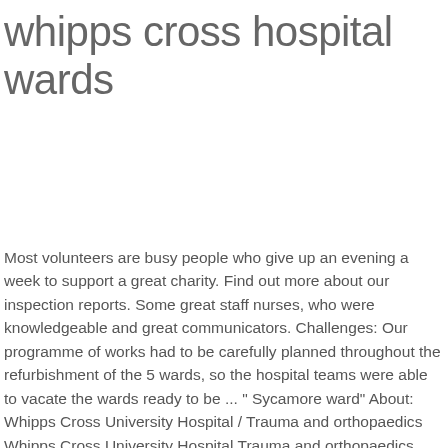whipps cross hospital wards
Most volunteers are busy people who give up an evening a week to support a great charity. Find out more about our inspection reports. Some great staff nurses, who were knowledgeable and great communicators. Challenges: Our programme of works had to be carefully planned throughout the refurbishment of the 5 wards, so the hospital teams were able to vacate the wards ready to be ... " Sycamore ward" About: Whipps Cross University Hospital / Trauma and orthopaedics Whipps Cross University Hospital Trauma and orthopaedics E11 1NR. I saw a locum GP on Friday 15 June with a very painful and swollen throat and ear ache. First opening over a hundred years ago, our team at Whipps Cross have some of the busiest departments in the country with over 77,000 inpatient stays and 381,000 outpatient appointments every year. In November 1955, the Hospital had 974 general medical and surgical beds. Nowadays, Whipps Cross provides a full range of general, outpatient and day case services. Looking for informati...